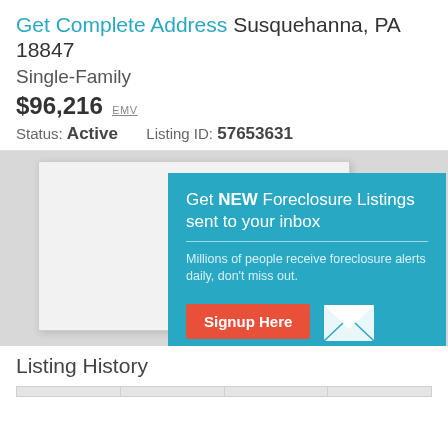Get Complete Address Susquehanna, PA 18847
Single-Family
$96,216 EMV
Status: Active    Listing ID: 57653631
[Figure (screenshot): Map area with a teal popup card overlay for foreclosure listing signup]
Get NEW Foreclosure Listings sent to your inbox
Millions of people receive foreclosure alerts daily, don't miss out.
Signup Here
No Thanks | Remind Me Later
Listing History